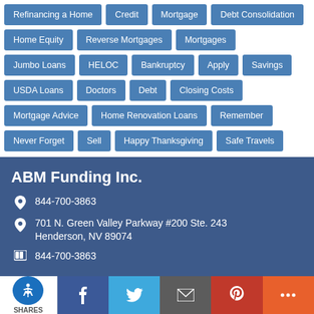Refinancing a Home
Credit
Mortgage
Debt Consolidation
Home Equity
Reverse Mortgages
Mortgages
Jumbo Loans
HELOC
Bankruptcy
Apply
Savings
USDA Loans
Doctors
Debt
Closing Costs
Mortgage Advice
Home Renovation Loans
Remember
Never Forget
Sell
Happy Thanksgiving
Safe Travels
ABM Funding Inc.
844-700-3863
701 N. Green Valley Parkway #200 Ste. 243 Henderson, NV 89074
844-700-3863